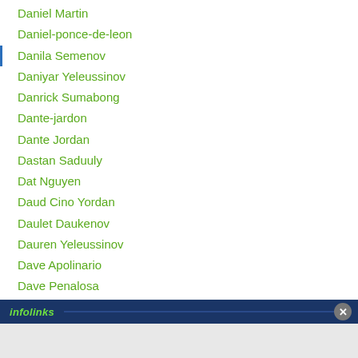Daniel Martin
Daniel-ponce-de-leon
Danila Semenov
Daniyar Yeleussinov
Danrick Sumabong
Dante-jardon
Dante Jordan
Dastan Saduuly
Dat Nguyen
Daud Cino Yordan
Daulet Daukenov
Dauren Yeleussinov
Dave Apolinario
Dave Penalosa
Dave Peterson
Davron Makhmadov